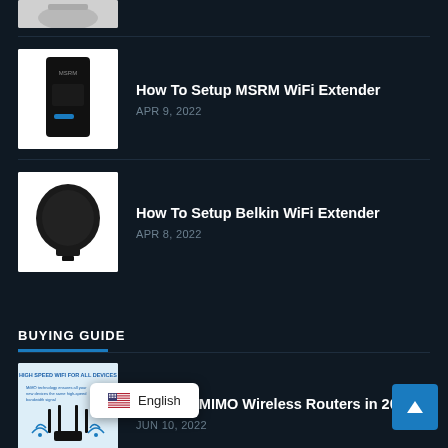[Figure (photo): Partial image of a device at top of page (cropped)]
How To Setup MSRM WiFi Extender
APR 9, 2022
[Figure (photo): MSRM WiFi Extender device - black rectangular unit with blue indicator light]
How To Setup Belkin WiFi Extender
APR 8, 2022
[Figure (photo): Belkin WiFi Extender - black rounded device]
BUYING GUIDE
Best MU-MIMO Wireless Routers in 2022
JUN 10, 2022
[Figure (photo): MU-MIMO wireless router infographic with text and router illustration]
Home Router in 2022
English